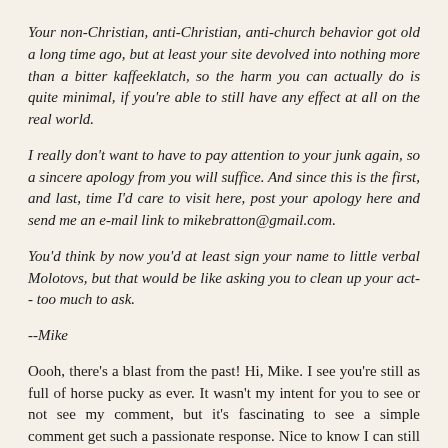Your non-Christian, anti-Christian, anti-church behavior got old a long time ago, but at least your site devolved into nothing more than a bitter kaffeeklatch, so the harm you can actually do is quite minimal, if you're able to still have any effect at all on the real world.
I really don't want to have to pay attention to your junk again, so a sincere apology from you will suffice. And since this is the first, and last, time I'd care to visit here, post your apology here and send me an e-mail link to mikebratton@gmail.com.
You'd think by now you'd at least sign your name to little verbal Molotovs, but that would be like asking you to clean up your act-- too much to ask.
--Mike
Oooh, there's a blast from the past! Hi, Mike. I see you're still as full of horse pucky as ever. It wasn't my intent for you to see or not see my comment, but it's fascinating to see a simple comment get such a passionate response. Nice to know I can still get under